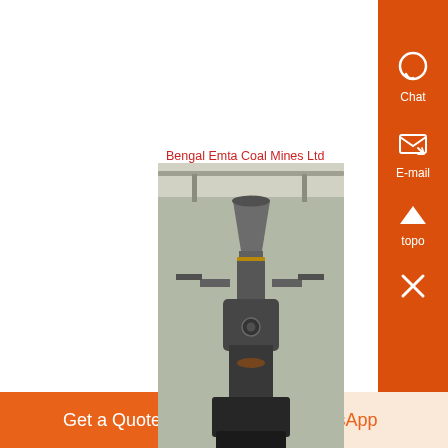Bengal Emta Coal Mines Ltd Company Information
[Figure (photo): Industrial machinery inside a factory — a large furnace or blast furnace equipment on a factory floor with overhead cranes visible.]
Bengal Emta Coal Mines Ltd company information, Bengal Emta Coal Mines directors/partners details, owner contact information and Bengal Emta Coal Mines Ltd ,....